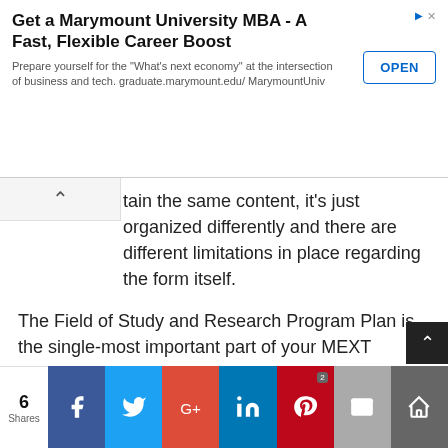[Figure (screenshot): Advertisement banner for Marymount University MBA program with an OPEN button]
tain the same content, it's just organized differently and there are different limitations in place regarding the form itself.
The Field of Study and Research Program Plan is the single-most important part of your MEXT Scholarship application at the graduate level. Whether you're applying for a research student status, Master's Degree, or PhD, this is the single most important element that you have any control over. I've discussed that in a previous article, but I constantly get people asking for more details, so here it is.
6 Shares | Facebook | Twitter | Google+ | LinkedIn | Pinterest | Email | Share